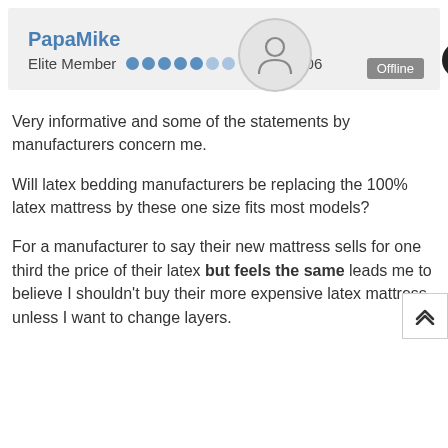[Figure (other): User profile card with avatar icon, username PapaMike, Elite Member rank, dots indicator, offline badge, and post count 106]
Very informative and some of the statements by manufacturers concern me.
Will latex bedding manufacturers be replacing the 100% latex mattress by these one size fits most models?
For a manufacturer to say their new mattress sells for one third the price of their latex but feels the same leads me to believe I shouldn't buy their more expensive latex mattress unless I want to change layers.